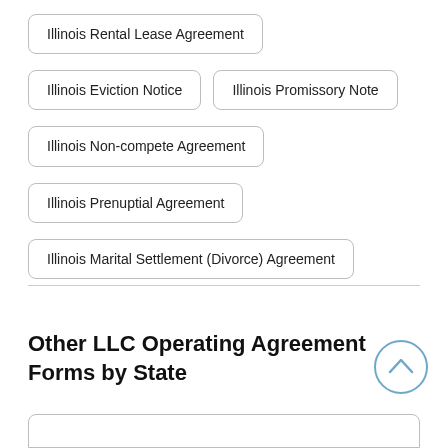Illinois Rental Lease Agreement
Illinois Eviction Notice
Illinois Promissory Note
Illinois Non-compete Agreement
Illinois Prenuptial Agreement
Illinois Marital Settlement (Divorce) Agreement
Other LLC Operating Agreement Forms by State